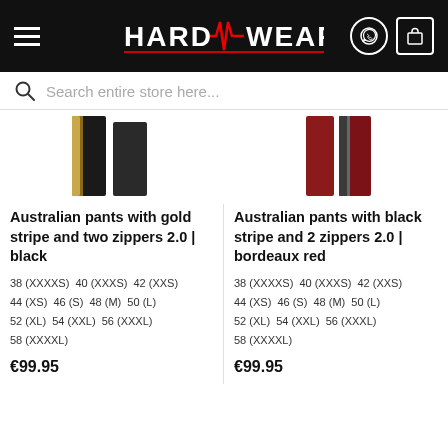HARD WEAR
Search entire store here...
[Figure (photo): Product image of Australian pants with gold stripe and two zippers 2.0 in black]
[Figure (photo): Product image of Australian pants with black stripe and 2 zippers 2.0 in bordeaux red]
Australian pants with gold stripe and two zippers 2.0 | black
38 (XXXXS)  40 (XXXS)  42 (XXS)
44 (XS)  46 (S)  48 (M)  50 (L)
52 (XL)  54 (XXL)  56 (XXXL)
58 (XXXXL)
€99.95
Australian pants with black stripe and 2 zippers 2.0 | bordeaux red
38 (XXXXS)  40 (XXXS)  42 (XXS)
44 (XS)  46 (S)  48 (M)  50 (L)
52 (XL)  54 (XXL)  56 (XXXL)
58 (XXXXL)
€99.95